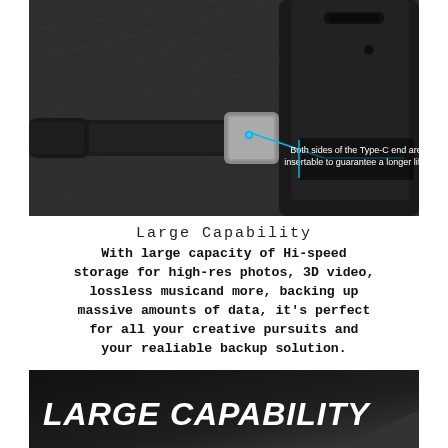[Figure (photo): Close-up photo of a USB Type-C cable connector being inserted into a device port, with a callout annotation reading: 'Both sides of the Type-C end are insertable to guarantee a longer life.']
Large Capability
With large capacity of Hi-speed storage for high-res photos, 3D video, lossless musicand more, backing up massive amounts of data, it's perfect for all your creative pursuits and your realiable backup solution.
[Figure (photo): Dark banner/background image with large italic bold white text reading 'LARGE CAPABILITY' with a USB device partially visible at bottom right.]